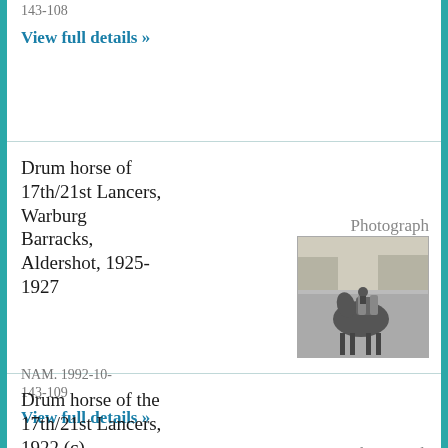143-108
View full details »
Drum horse of 17th/21st Lancers, Warburg Barracks, Aldershot, 1925-1927
Photograph
[Figure (photo): Black and white photograph of a drum horse of 17th/21st Lancers standing in a courtyard, with drums mounted on its back]
NAM. 1992-10-143-109
View full details »
Drum horse of the 17th/21st Lancers, 1922 (c)
Photograph
[Figure (photo): Black and white photograph of a drum horse of the 17th/21st Lancers, 1922 (c), with a rider and drums]